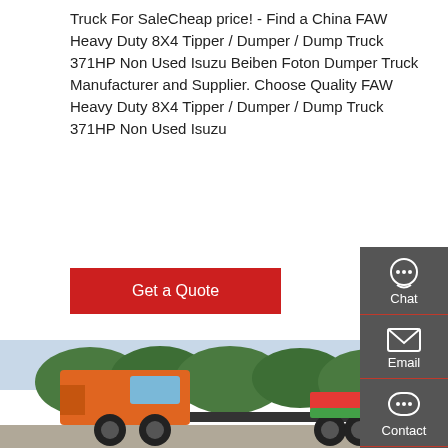Truck For SaleCheap price! - Find a China FAW Heavy Duty 8X4 Tipper / Dumper / Dump Truck 371HP Non Used Isuzu Beiben Foton Dumper Truck Manufacturer and Supplier. Choose Quality FAW Heavy Duty 8X4 Tipper / Dumper / Dump Truck 371HP Non Used Isuzu
[Figure (other): Button: Get a Quote (red background, white text)]
[Figure (photo): Photo of an orange FAW heavy duty truck (8x4 tractor unit) parked outdoors with trees in background. A sign with Chinese text is visible in the background.]